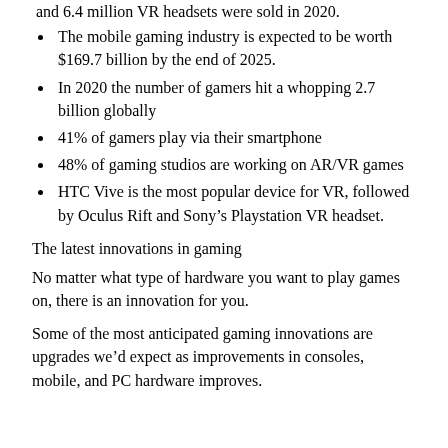and 6.4 million VR headsets were sold in 2020.
The mobile gaming industry is expected to be worth $169.7 billion by the end of 2025.
In 2020 the number of gamers hit a whopping 2.7 billion globally
41% of gamers play via their smartphone
48% of gaming studios are working on AR/VR games
HTC Vive is the most popular device for VR, followed by Oculus Rift and Sony’s Playstation VR headset.
The latest innovations in gaming
No matter what type of hardware you want to play games on, there is an innovation for you.
Some of the most anticipated gaming innovations are upgrades we’d expect as improvements in consoles, mobile, and PC hardware improves.